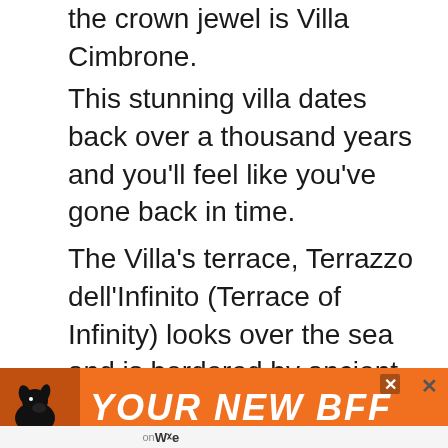the crown jewel is Villa Cimbrone.
This stunning villa dates back over a thousand years and you'll feel like you've gone back in time.
The Villa's terrace, Terrazzo dell'Infinito (Terrace of Infinity) looks over the sea and is bordered by ancient statues. If you can visit at sunset, you'll be in for a romantic treat as the pink sunset from here is one of the most beautiful I've ever seen.
[Figure (screenshot): Orange advertisement banner showing a dog silhouette and text 'YOUR NEW BFF' in white bold italic letters with close buttons]